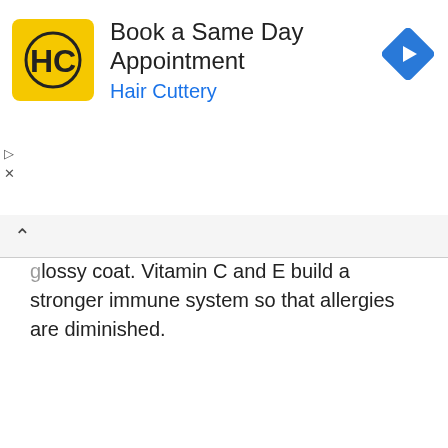[Figure (other): Hair Cuttery advertisement banner: yellow HC logo, 'Book a Same Day Appointment' title, 'Hair Cuttery' subtitle in blue, blue diamond arrow icon on right, play and X controls on left]
glossy coat. Vitamin C and E build a stronger immune system so that allergies are diminished.